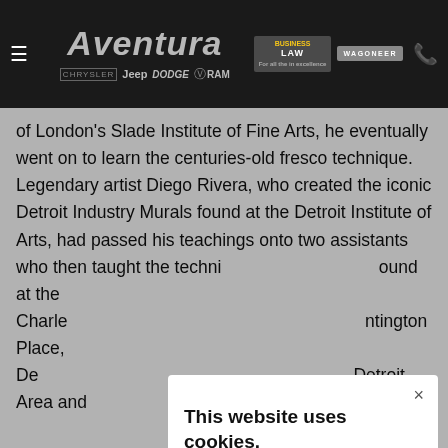[Figure (screenshot): Aventura dealership website navigation bar with logo, brand logos (Chrysler, Jeep, Dodge, RAM), Business Law badge, Wagoneer badge, and phone icon on dark background]
of London's Slade Institute of Fine Arts, he eventually went on to learn the centuries-old fresco technique. Legendary artist Diego Rivera, who created the iconic Detroit Industry Murals found at the Detroit Institute of Arts, had passed his teachings onto two assistants who then taught the techni... ound at the Charle... ntington Place, De... Detroit Area and ...
Dr. Masse... arrier outside o... ing two sections o... d Kercheva... in the region of... feet long. Why the D... d Jefferso... Grand...
This website uses cookies.
We use cookies to improve your experience and help our website to function. See Privacy Policy, Terms & Arbitration for details on Cookies and other terms required to use this site.
ACCEPT COOKIES & POLICIES
MORE INFORMATION
Privacy Policy